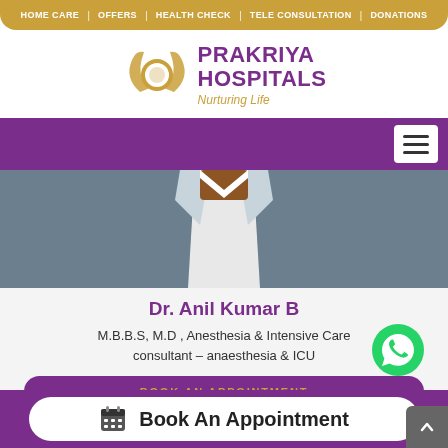HOME CARE | OFFERS | HEALTH CHECK | TELE CONSULTATION | DONATIONS
[Figure (logo): Prakriya Hospitals logo with stylized hands forming a circle around a golden ring, purple text reading PRAKRIYA HOSPITALS, tagline Nurturing Life in gold italic]
[Figure (photo): Doctor in grey suit jacket with white shirt, torso/body shot, purple navigation bar overlay at top with white hamburger menu button on right]
Dr. Anil Kumar B
M.B.B.S, M.D , Anesthesia & Intensive Care consultant – anaesthesia & ICU
BOOK AN APPOINTMENT
Book An Appointment